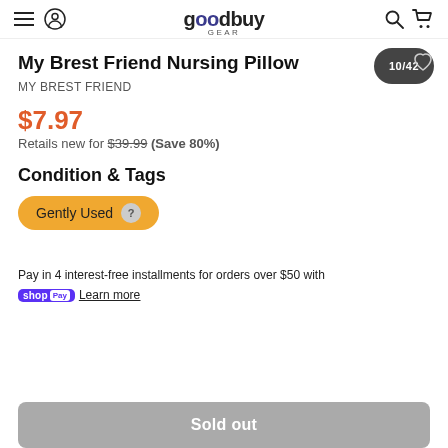goodbuy GEAR navigation header
My Brest Friend Nursing Pillow
MY BREST FRIEND
$7.97
Retails new for $39.99 (Save 80%)
Condition & Tags
Gently Used
Pay in 4 interest-free installments for orders over $50 with shop Pay Learn more
Sold out